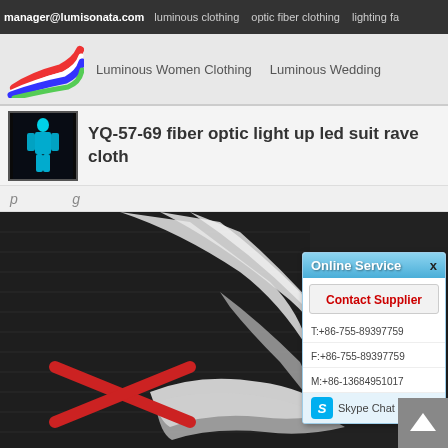manager@lumisonata.com  luminous clothing  optic fiber clothing  lighting fa
Luminous Women Clothing  Luminous Wedding
YQ-57-69 fiber optic light up led suit rave cloth
[Figure (screenshot): Product photo showing fiber optic fabric material with a red X mark, with online service popup showing contact details: T:+86-755-89397759, F:+86-755-89397759, M:+86-13684951017, Skype Chat]